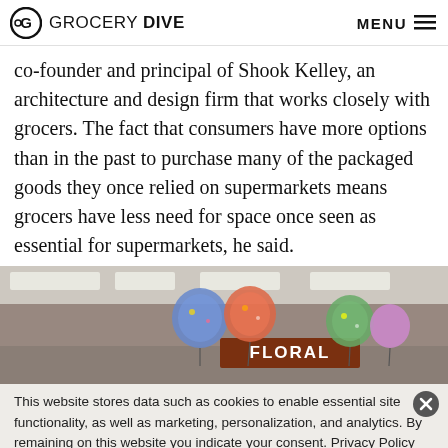GROCERY DIVE | MENU
co-founder and principal of Shook Kelley, an architecture and design firm that works closely with grocers. The fact that consumers have more options than in the past to purchase many of the packaged goods they once relied on supermarkets means grocers have less need for space once seen as essential for supermarkets, he said.
[Figure (photo): Interior of a grocery store showing the floral department with colorful balloons floating near the ceiling. A brown sign reads 'FLORAL'. Fluorescent ceiling lights are visible.]
This website stores data such as cookies to enable essential site functionality, as well as marketing, personalization, and analytics. By remaining on this website you indicate your consent. Privacy Policy